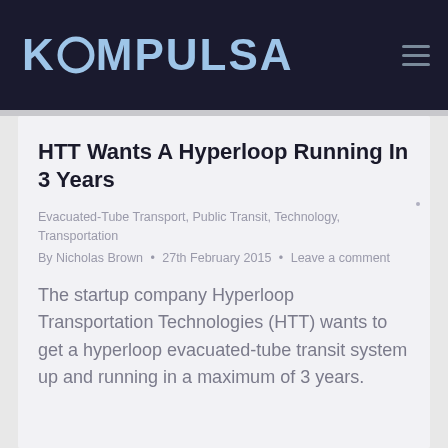KOMPULSA
HTT Wants A Hyperloop Running In 3 Years
Evacuated-Tube Transport, Public Transit, Technology, Transportation
By Nicholas Brown • 27th February 2015 • Leave a comment
The startup company Hyperloop Transportation Technologies (HTT) wants to get a hyperloop evacuated-tube transit system up and running in a maximum of 3 years.
[Figure (screenshot): Partial view of a second article card at the bottom of the page]